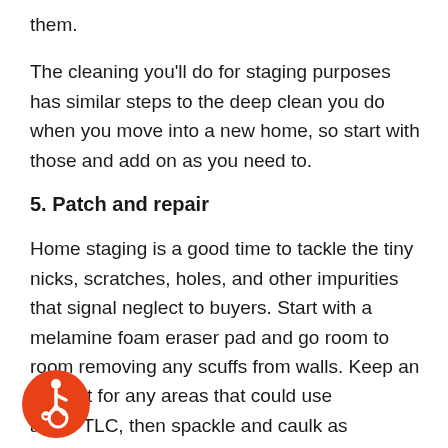them.
The cleaning you'll do for staging purposes has similar steps to the deep clean you do when you move into a new home, so start with those and add on as you need to.
5. Patch and repair
Home staging is a good time to tackle the tiny nicks, scratches, holes, and other impurities that signal neglect to buyers. Start with a melamine foam eraser pad and go room to room removing any scuffs from walls. Keep an eye out for any areas that could use a TLC, then spackle and caulk as necessary. You may need to do some paint touch-ups too, if you notice
[Figure (logo): Accessibility icon — orange circle with white wheelchair user symbol]